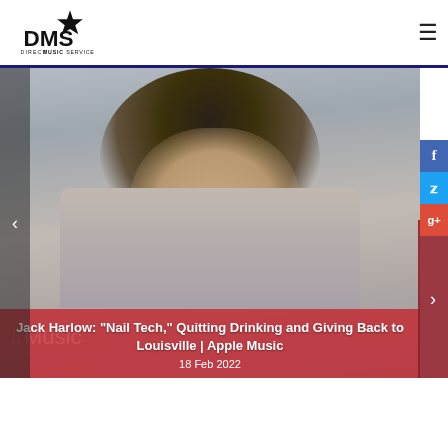DMS Direct Music Service
[Figure (photo): Jack Harlow portrait photo - young man with curly dark hair and beard against a grey background, with Apple Music branding overlay and red gradient overlay showing article title]
Jack Harlow: "Nail Tech," Quitting Drinking and Giving Back to Louisville | Apple Music
18 Feb 2022